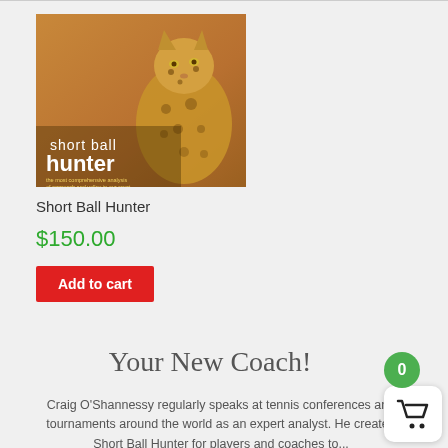[Figure (photo): Book cover for 'Short Ball Hunter' featuring a leopard on a warm brown background with text overlay reading 'short ball hunter – the most comprehensive analysis of approach and volley in our sport']
Short Ball Hunter
$150.00
Add to cart
Your New Coach!
Craig O'Shannessy regularly speaks at tennis conferences and tournaments around the world as an expert analyst. He created Short Ball Hunter for players and coaches to...